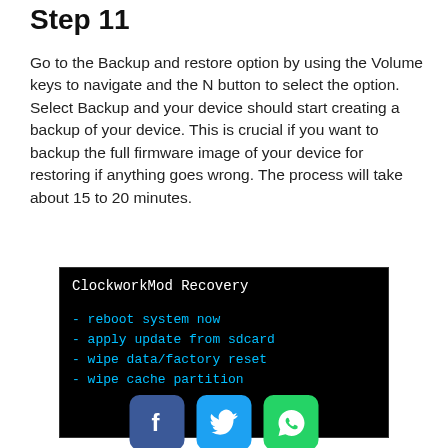Step 11
Go to the Backup and restore option by using the Volume keys to navigate and the N button to select the option. Select Backup and your device should start creating a backup of your device. This is crucial if you want to backup the full firmware image of your device for restoring if anything goes wrong. The process will take about 15 to 20 minutes.
[Figure (screenshot): ClockworkMod Recovery menu showing options: reboot system now, apply update from sdcard, wipe data/factory reset, wipe cache partition]
[Figure (other): Social share buttons: Facebook (blue), Twitter (light blue), WhatsApp (green)]